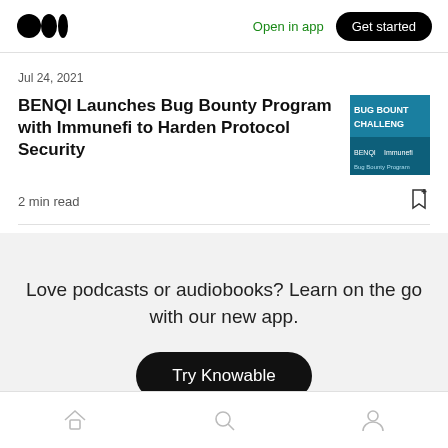Medium logo | Open in app | Get started
Jul 24, 2021
BENQI Launches Bug Bounty Program with Immunefi to Harden Protocol Security
2 min read
Love podcasts or audiobooks? Learn on the go with our new app.
Try Knowable
Home | Search | Profile